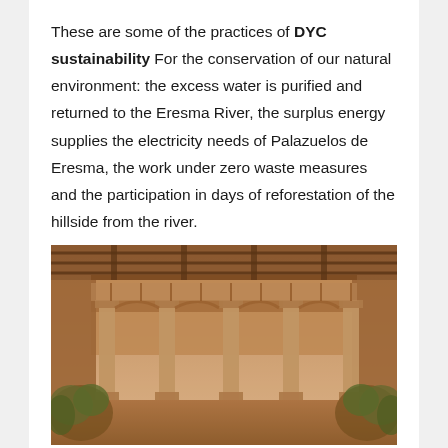These are some of the practices of DYC sustainability For the conservation of our natural environment: the excess water is purified and returned to the Eresma River, the surplus energy supplies the electricity needs of Palazuelos de Eresma, the work under zero waste measures and the participation in days of reforestation of the hillside from the river.
[Figure (photo): Sepia-toned photograph of a historic courtyard with stone columns, wooden-beamed balconies on upper level, and lush green plants at ground level. The architecture appears to be a Spanish colonial or Renaissance-style building.]